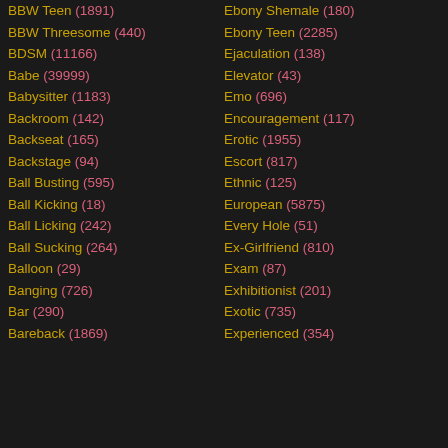BBW Teen (1891)
BBW Threesome (440)
BDSM (11166)
Babe (39999)
Babysitter (1183)
Backroom (142)
Backseat (165)
Backstage (94)
Ball Busting (595)
Ball Kicking (18)
Ball Licking (242)
Ball Sucking (264)
Balloon (29)
Banging (726)
Bar (290)
Bareback (1869)
Ebony Shemale (180)
Ebony Teen (2285)
Ejaculation (138)
Elevator (43)
Emo (696)
Encouragement (117)
Erotic (1955)
Escort (817)
Ethnic (125)
European (5875)
Every Hole (51)
Ex-Girlfriend (810)
Exam (87)
Exhibitionist (201)
Exotic (735)
Experienced (354)